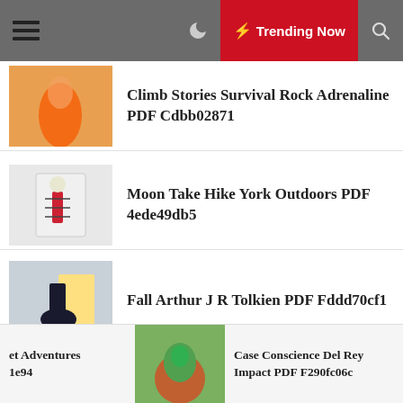Trending Now
Climb Stories Survival Rock Adrenaline PDF Cdbb02871
Moon Take Hike York Outdoors PDF 4ede49db5
Fall Arthur J R Tolkien PDF Fddd70cf1
Red Rising Pierce Brown PDF 50144e5c1
et Adventures 1e94
Case Conscience Del Rey Impact PDF F290fc06c